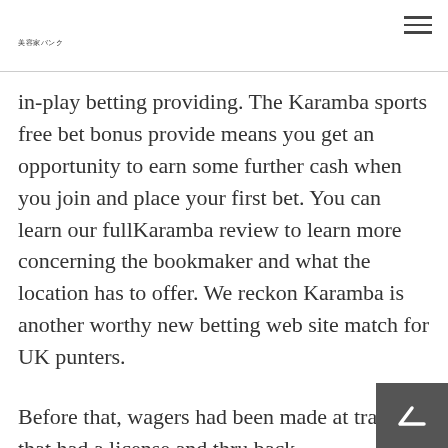美容家バンク
in-play betting providing. The Karamba sports free bet bonus provide means you get an opportunity to earn some further cash when you join and place your first bet. You can learn our fullKaramba review to learn more concerning the bookmaker and what the location has to offer. We reckon Karamba is another worthy new betting web site match for UK punters.
Before that, wagers had been made at tracks that had a license and thru back